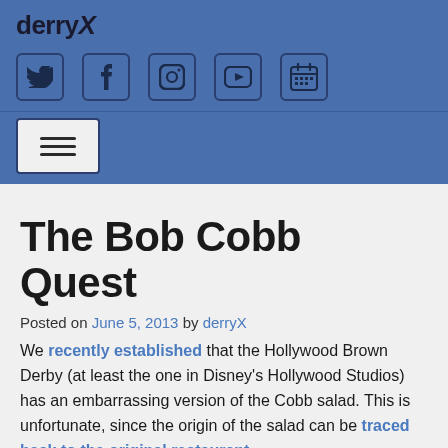derryX
[Figure (infographic): Social media icons row: Twitter, Facebook, Instagram, YouTube, Calendar — dark icons on blue background with rounded square borders]
[Figure (infographic): Hamburger menu button — three horizontal lines in a light square on blue background]
The Bob Cobb Quest
Posted on June 5, 2013 by derryX
We recently established that the Hollywood Brown Derby (at least the one in Disney's Hollywood Studios) has an embarrassing version of the Cobb salad. This is unfortunate, since the origin of the salad can be traced back to the original restaurant.
Let's see a show of hands. How many of you have seen the